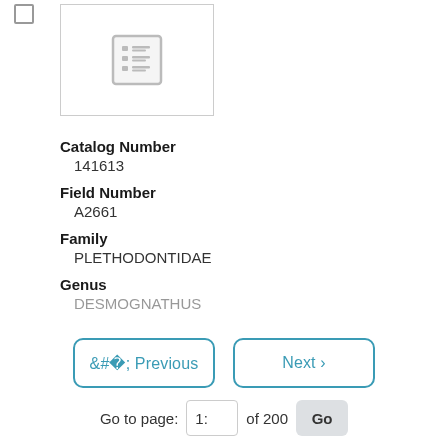[Figure (screenshot): Thumbnail placeholder icon showing a list/table icon in gray on a white background with gray border]
Catalog Number
141613
Field Number
A2661
Family
PLETHODONTIDAE
Genus
DESMOGNATHUS (partially visible, clipped)
< Previous
Next >
Go to page: 1: of 200 Go